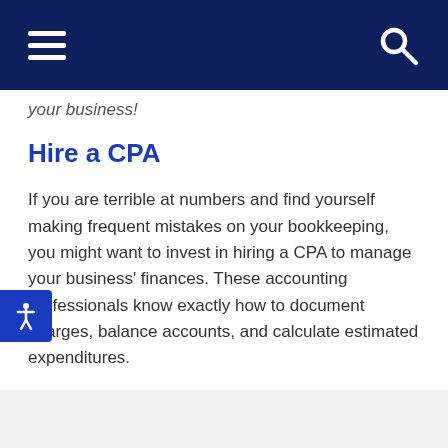Navigation bar with hamburger menu and search icon
your business!
Hire a CPA
If you are terrible at numbers and find yourself making frequent mistakes on your bookkeeping, you might want to invest in hiring a CPA to manage your business' finances. These accounting professionals know exactly how to document charges, balance accounts, and calculate estimated expenditures.